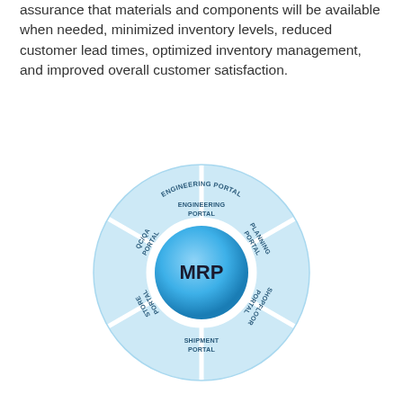assurance that materials and components will be available when needed, minimized inventory levels, reduced customer lead times, optimized inventory management, and improved overall customer satisfaction.
[Figure (other): Circular spoke diagram showing MRP at the center with six surrounding portals: Engineering Portal (top), Planning Portal (upper right), Shopfloor Portal (lower right), Shipment Portal (bottom), Store Portal (lower left), QC/QA Portal (upper left).]